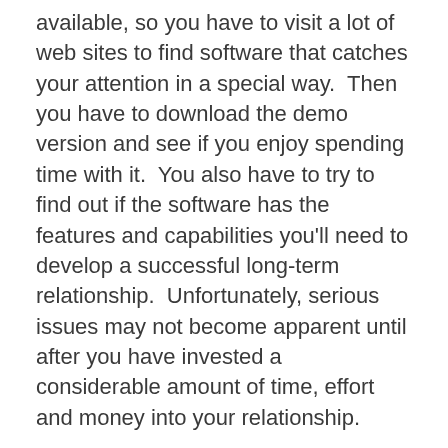available, so you have to visit a lot of web sites to find software that catches your attention in a special way.  Then you have to download the demo version and see if you enjoy spending time with it.  You also have to try to find out if the software has the features and capabilities you'll need to develop a successful long-term relationship.  Unfortunately, serious issues may not become apparent until after you have invested a considerable amount of time, effort and money into your relationship.
I sought suggestions on CNCZone.com for software that would meet the following requirements:
I'm just a hobbyist, so it has to be